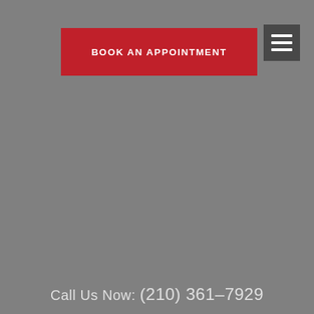[Figure (screenshot): Red button with white bold text reading BOOK AN APPOINTMENT on a gray background]
[Figure (screenshot): Dark gray hamburger menu icon (three horizontal white lines) in top right corner]
Call Us Now: (210) 361-7929